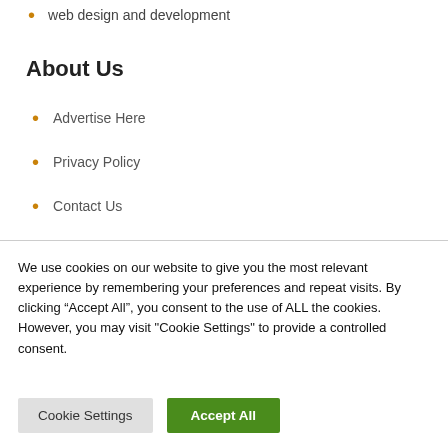web design and development
About Us
Advertise Here
Privacy Policy
Contact Us
We use cookies on our website to give you the most relevant experience by remembering your preferences and repeat visits. By clicking “Accept All”, you consent to the use of ALL the cookies. However, you may visit "Cookie Settings" to provide a controlled consent.
Cookie Settings | Accept All